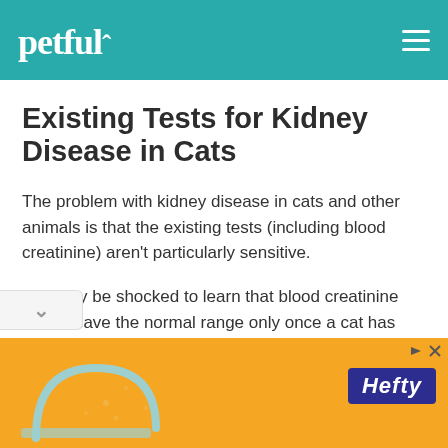petful
Existing Tests for Kidney Disease in Cats
The problem with kidney disease in cats and other animals is that the existing tests (including blood creatinine) aren't particularly sensitive.
You may be shocked to learn that blood creatinine levels leave the normal range only once a cat has lost 75% of their kidney function.
[Figure (other): Orange Hefty advertisement banner at bottom of page]